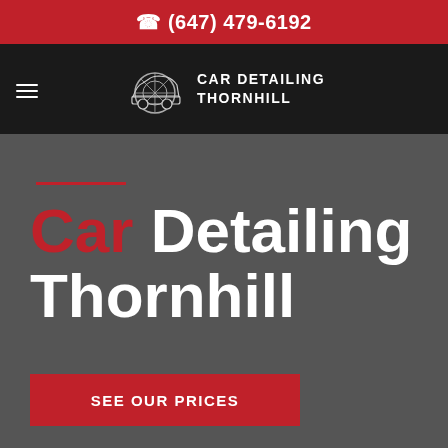☎ (647) 479-6192
[Figure (logo): Car Detailing Thornhill logo with stylized car icon and text CAR DETAILING THORNHILL on black navigation bar with hamburger menu icon]
Car Detailing Thornhill
SEE OUR PRICES